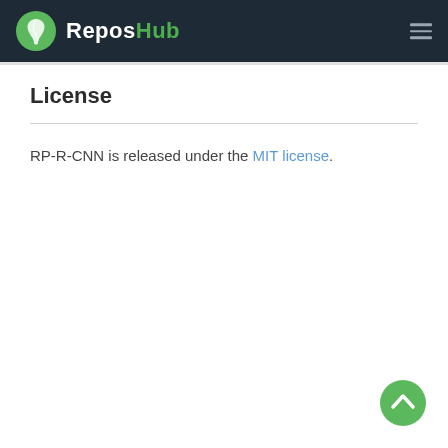ReposHub
License
RP-R-CNN is released under the MIT license.